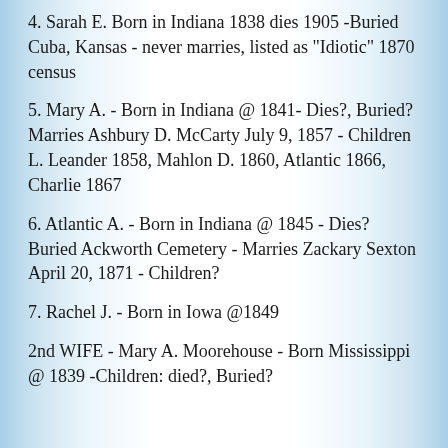4. Sarah E. Born in Indiana 1838 dies 1905 -Buried Cuba, Kansas - never marries, listed as "Idiotic" 1870 census
5. Mary A. - Born in Indiana @ 1841- Dies?, Buried? Marries Ashbury D. McCarty July 9, 1857 - Children L. Leander 1858, Mahlon D. 1860, Atlantic 1866, Charlie 1867
6. Atlantic A. - Born in Indiana @ 1845 - Dies? Buried Ackworth Cemetery - Marries Zackary Sexton April 20, 1871 - Children?
7. Rachel J. - Born in Iowa @1849
2nd WIFE - Mary A. Moorehouse - Born Mississippi @ 1839 -Children: died?, Buried?